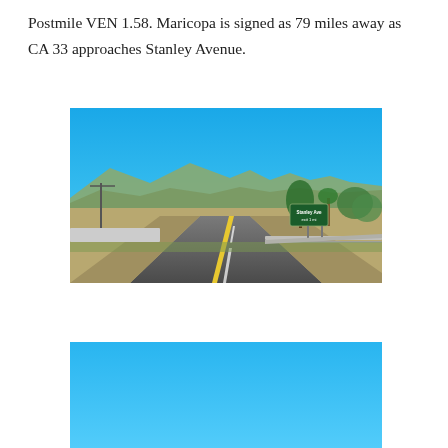Postmile VEN 1.58. Maricopa is signed as 79 miles away as CA 33 approaches Stanley Avenue.
[Figure (photo): Road-level photograph of CA 33 highway approaching Stanley Avenue. Clear blue sky above, mountains in background, green highway sign reading 'Stanley Ave' visible on the right side of the road, palm trees and other vegetation visible, yellow center line on road.]
[Figure (photo): Partial photograph showing a bright blue sky, the top portion of the next scene along CA 33, cropped at page bottom.]